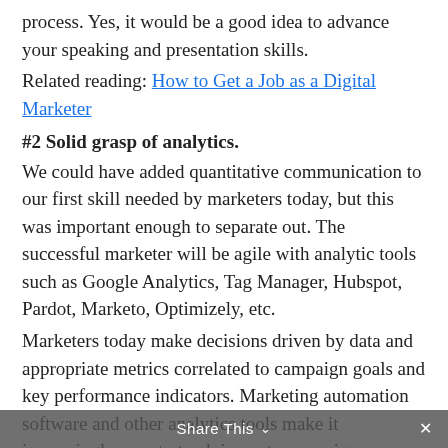process. Yes, it would be a good idea to advance your speaking and presentation skills.
Related reading: How to Get a Job as a Digital Marketer
#2 Solid grasp of analytics.
We could have added quantitative communication to our first skill needed by marketers today, but this was important enough to separate out. The successful marketer will be agile with analytic tools such as Google Analytics, Tag Manager, Hubspot, Pardot, Marketo, Optimizely, etc.
Marketers today make decisions driven by data and appropriate metrics correlated to campaign goals and key performance indicators. Marketing automation software and other analytics tools make it increasingly easy to track impacts campaign success. So, the marketer should be able to look at an analytical dashboard without breaking into a cold sweat.
#3 Strong understanding of Inbound marketing.
Inbound marketers attract, convert, and nurture qualified sales leads using strategies designed specifically to be helpful